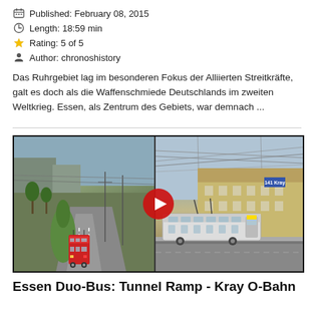Published: February 08, 2015
Length: 18:59 min
Rating: 5 of 5
Author: chronoshistory
Das Ruhrgebiet lag im besonderen Fokus der Alliierten Streitkräfte, galt es doch als die Waffenschmiede Deutschlands im zweiten Weltkrieg. Essen, als Zentrum des Gebiets, war demnach ...
[Figure (screenshot): Video thumbnail showing two side-by-side scenes: left shows a bus on a road with trees and overhead lines, right shows a tram or trolleybus at a station building. A red YouTube play button is overlaid in the center.]
Essen Duo-Bus: Tunnel Ramp - Kray O-Bahn